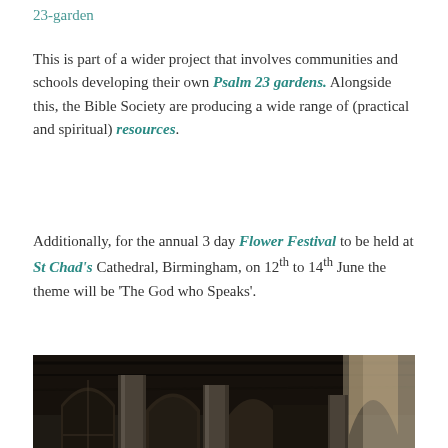23-garden
This is part of a wider project that involves communities and schools developing their own Psalm 23 gardens. Alongside this, the Bible Society are producing a wide range of (practical and spiritual) resources.
Additionally, for the annual 3 day Flower Festival to be held at St Chad's Cathedral, Birmingham, on 12th to 14th June the theme will be ‘The God who Speaks’.
[Figure (photo): Interior of St Chad's Cathedral, Birmingham, showing Gothic arches, stone columns with vaulted ceiling, and a floral arrangement visible in the centre foreground]